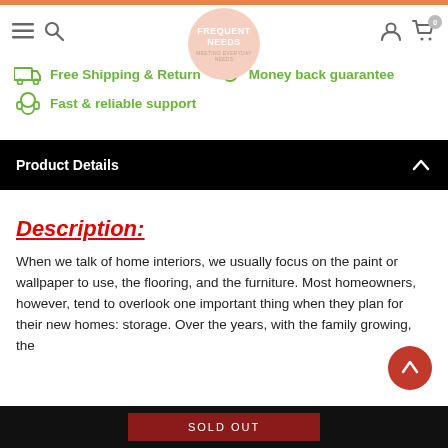Frequent Needs — Free Shipping & Return | Money back guarantee | Fast & reliable support
Product Details
Description:
When we talk of home interiors, we usually focus on the paint or wallpaper to use, the flooring, and the furniture. Most homeowners, however, tend to overlook one important thing when they plan for their new homes: storage. Over the years, with the family growing, the
SOLD OUT